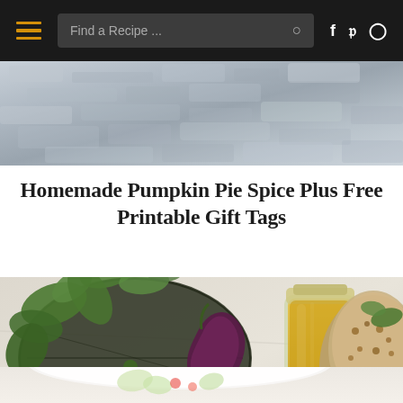Find a Recipe ...
[Figure (photo): Top hero image: close-up of a textured stone or concrete surface in grey/beige tones, partially visible at top of page]
Homemade Pumpkin Pie Spice Plus Free Printable Gift Tags
[Figure (photo): Overhead food photography: fresh herbs and greens in a dark wire basket, a glass jar of yellow olive oil, a ceramic bowl with grains and vegetables on a light marble/stone surface]
[Figure (photo): Bottom food photo: partial view of a white bowl with salad or food items on a light surface, partially cropped]